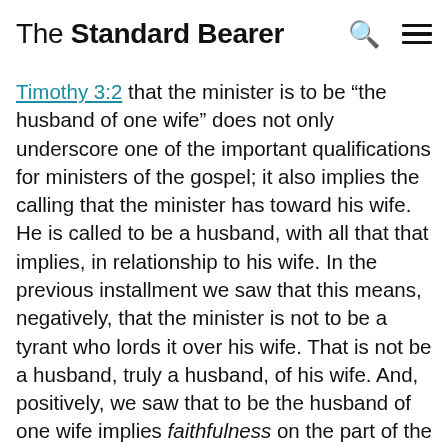The Standard Bearer
Timothy 3:2 that the minister is to be “the husband of one wife” does not only underscore one of the important qualifications for ministers of the gospel; it also implies the calling that the minister has toward his wife. He is called to be a husband, with all that that implies, in relationship to his wife. In the previous installment we saw that this means, negatively, that the minister is not to be a tyrant who lords it over his wife. That is not be a husband, truly a husband, of his wife. And, positively, we saw that to be the husband of one wife implies faithfulness on the part of the minister/husband. Being a husband to his wife means that before the world and before the church he shows himself to be a devoted husband, a husband who will not allow anyone and anything to stand